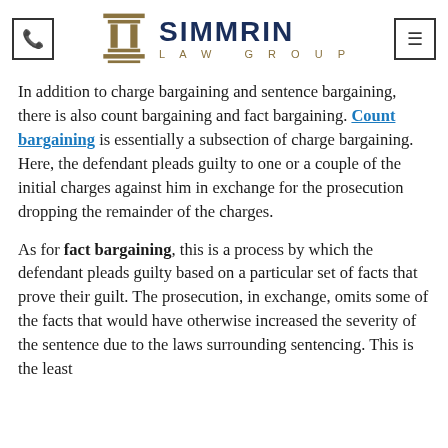Simmrin Law Group
In addition to charge bargaining and sentence bargaining, there is also count bargaining and fact bargaining. Count bargaining is essentially a subsection of charge bargaining. Here, the defendant pleads guilty to one or a couple of the initial charges against him in exchange for the prosecution dropping the remainder of the charges.
As for fact bargaining, this is a process by which the defendant pleads guilty based on a particular set of facts that prove their guilt. The prosecution, in exchange, omits some of the facts that would have otherwise increased the severity of the sentence due to the laws surrounding sentencing. This is the least